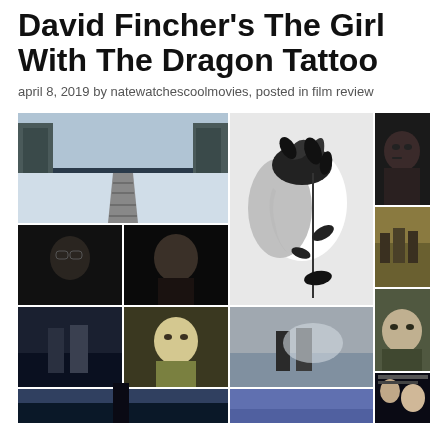David Fincher's The Girl With The Dragon Tattoo
april 8, 2019 by natewatchescoolmovies, posted in film review
[Figure (photo): Collage of movie stills and promotional images from David Fincher's The Girl With The Dragon Tattoo, including snowy railroad tracks, character portraits, graphic art silhouette, outdoor scenes, and movie poster]